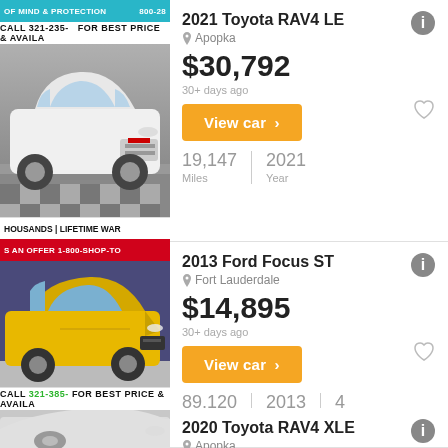[Figure (photo): Top blue banner strip with phone number 800-28x partially visible]
CALL 321-235- FOR BEST PRICE & AVAILA
[Figure (photo): White 2021 Toyota RAV4 LE parked on checkered floor in dealership]
HOUSANDS | LIFETIME WAR
S AN OFFER 1-800-SHOP-TO
2021 Toyota RAV4 LE
Apopka
$30,792
30+ days ago
View car >
19,147 Miles | 2021 Year
[Figure (photo): Yellow 2013 Ford Focus ST parked, front three-quarter view]
CALL 321-385- FOR BEST PRICE & AVAILA
2013 Ford Focus ST
Fort Lauderdale
$14,895
30+ days ago
View car >
89,120 Miles | 2013 Year | 4 Doors
2020 Toyota RAV4 XLE
Apopka
$30,667
30+ days ago
[Figure (photo): Partial view of silver/grey 2020 Toyota RAV4 XLE in dealership]